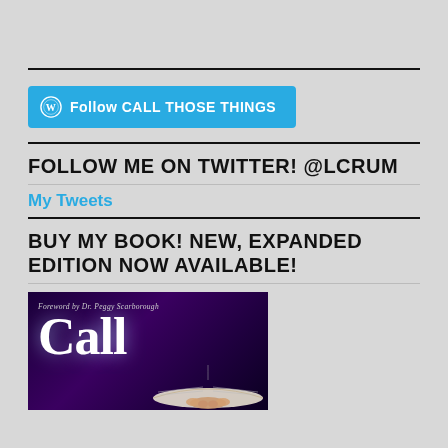[Figure (other): WordPress Follow button for 'CALL THOSE THINGS' blog with WordPress logo icon, teal/blue background]
FOLLOW ME ON TWITTER! @LCRUM
My Tweets
BUY MY BOOK! NEW, EXPANDED EDITION NOW AVAILABLE!
[Figure (photo): Book cover showing 'Call' in large white text on dark purple/night sky background, with foreword by Dr. Peggy Scarborough, and hands holding an open book]